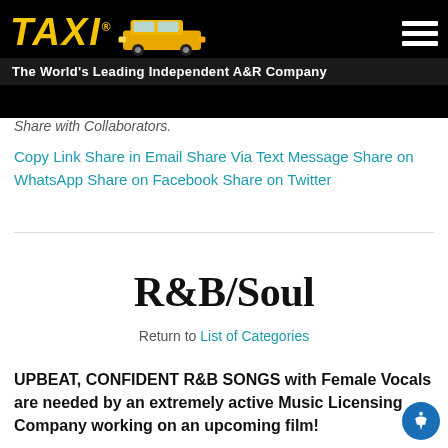TAXI® — The World's Leading Independent A&R Company
Share with Collaborators.
Copy Link Share in Email Share Via Text Message Share on WhatsApp Share on Facebook Share on Twitter
R&B/Soul
Return to List of Categories
UPBEAT, CONFIDENT R&B SONGS with Female Vocals are needed by an extremely active Music Licensing Company working on an upcoming film!